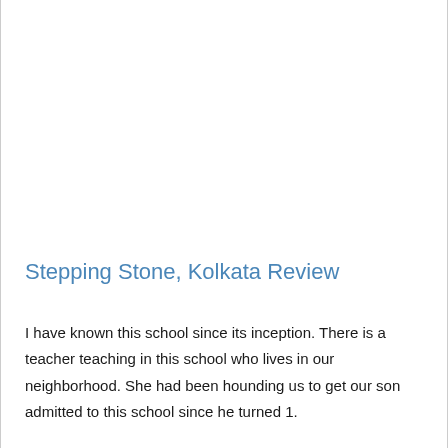Stepping Stone, Kolkata Review
I have known this school since its inception. There is a teacher teaching in this school who lives in our neighborhood. She had been hounding us to get our son admitted to this school since he turned 1.